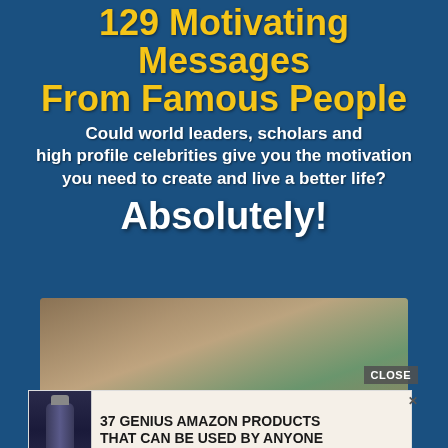129 Motivating Messages From Famous People
Could world leaders, scholars and high profile celebrities give you the motivation you need to create and live a better life? Absolutely!
[Figure (photo): Photo of two people with heads close together, one person with dark hair and another with lighter hair, appearing to be in an intimate or emotional moment]
CLOSE
37 GENIUS AMAZON PRODUCTS THAT CAN BE USED BY ANYONE
[Figure (photo): Photo of two people with heads bowed close together, appears to be in an emotional or intimate moment]